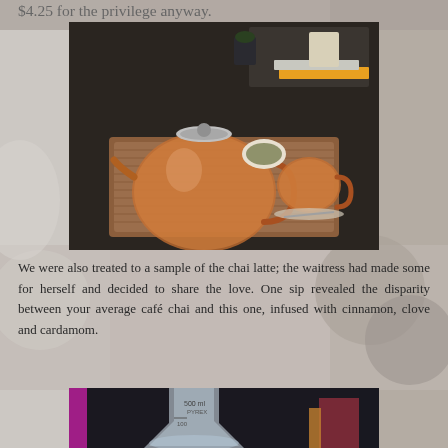$4.25 for the privilege anyway.
[Figure (photo): Glass teapot with reddish-brown tea on a wooden tray, accompanied by a glass teacup and a small dish of loose leaf tea, on a dark cafe table.]
We were also treated to a sample of the chai latte; the waitress had made some for herself and decided to share the love. One sip revealed the disparity between your average café chai and this one, infused with cinnamon, clove and cardamom.
[Figure (photo): Partial view of a glass beaker or lab flask with measurement markings, on a cafe table.]